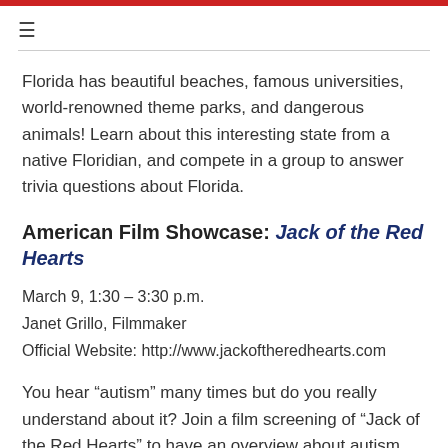Florida has beautiful beaches, famous universities, world-renowned theme parks, and dangerous animals! Learn about this interesting state from a native Floridian, and compete in a group to answer trivia questions about Florida.
American Film Showcase: Jack of the Red Hearts
March 9, 1:30 – 3:30 p.m.
Janet Grillo, Filmmaker
Official Website: http://www.jackoftheredhearts.com
You hear “autism” many times but do you really understand about it? Join a film screening of “Jack of the Red Hearts” to have an overview about autism. JACK OF THE RED HEARTS